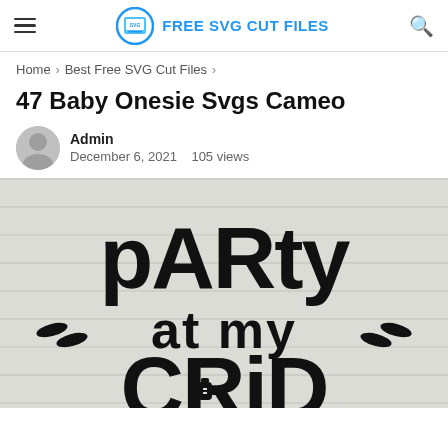FREE SVG CUT FILES
Home > Best Free SVG Cut Files >
47 Baby Onesie Svgs Cameo
Admin
December 6, 2021   105 views
[Figure (photo): Black text SVG design on wooden plank background reading 'party at my crib' with decorative elements including a baby bottle icon]